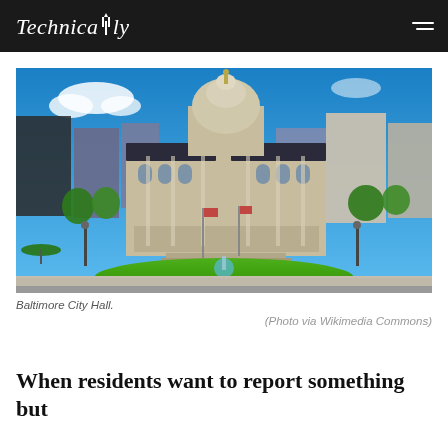Technically
[Figure (photo): Photograph of Baltimore City Hall, a grand stone building with a large domed cupola, surrounded by a green plaza with fountains, trees, and flagpoles. Tall office buildings are visible in the background under a bright blue sky.]
Baltimore City Hall.
(Photo via Wikimedia Commons)
When residents want to report something but